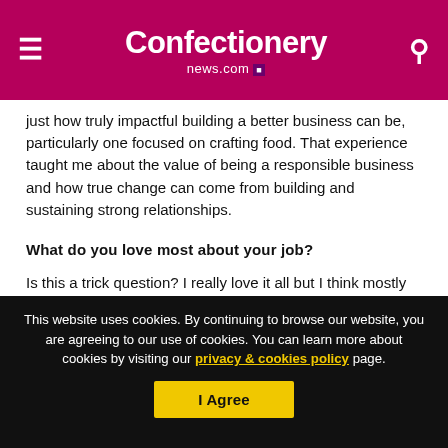Confectionery news.com
just how truly impactful building a better business can be, particularly one focused on crafting food. That experience taught me about the value of being a responsible business and how true change can come from building and sustaining strong relationships.
What do you love most about your job?
Is this a trick question? I really love it all but I think mostly it's
This website uses cookies. By continuing to browse our website, you are agreeing to our use of cookies. You can learn more about cookies by visiting our privacy & cookies policy page.